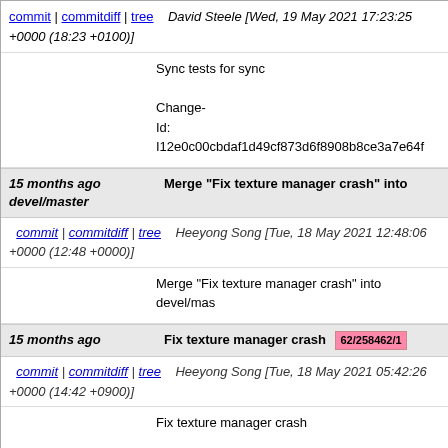commit | commitdiff | tree   David Steele [Wed, 19 May 2021 17:23:25 +0000 (18:23 +0100)]
Sync tests for sync

Change-Id: I12e0c00cbdaf1d49cf873d6f8908b8ce3a7e64f
15 months ago   Merge "Fix texture manager crash" into devel/master
commit | commitdiff | tree   Heeyong Song [Tue, 18 May 2021 12:48:06 +0000 (12:48 +0000)]
Merge "Fix texture manager crash" into devel/mas
15 months ago   Fix texture manager crash  62/258462/1
commit | commitdiff | tree   Heeyong Song [Tue, 18 May 2021 05:42:26 +0000 (14:42 +0900)]
Fix texture manager crash

mLoadQueue should not be changed in the range

Change-Id: I7d469a650c78c4f1dfd3c7aa2bc01d0b432daa
15 months ago   Merge "Add property